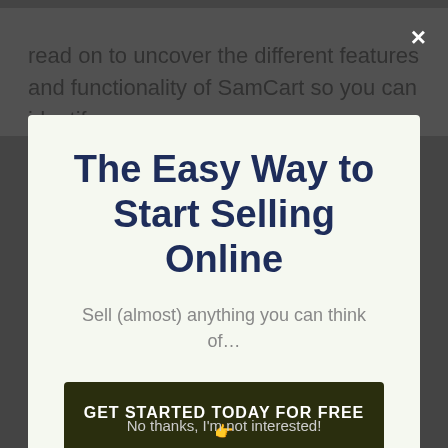read on to uncover the different features and functionality of SamCart so you can identify
✕
The Easy Way to Start Selling Online
Sell (almost) anything you can think of…
GET STARTED TODAY FOR FREE 👉
and electronics
No thanks, I'm not interested!